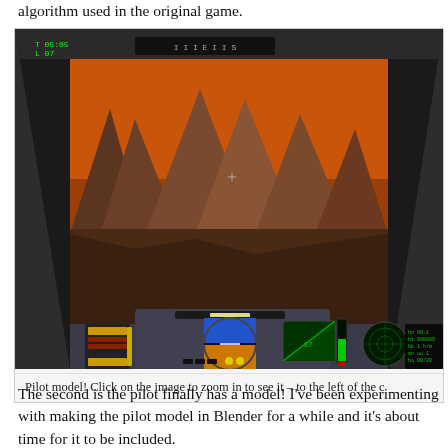algorithm used in the original game.
[Figure (screenshot): A 3D game screenshot showing a cockpit view from inside a spacecraft or aircraft flying over rocky alien terrain with an orange/red sky. The cockpit dashboard shows various instruments including an attitude indicator (blue/yellow circle), a radar screen (green), instrument panels, and HUD elements including a crosshair and text readouts.]
Pilot model! Click on the image to zoom in to see it – to the left of the c
The second is the pilot finally has a model! I've been experimenting with making the pilot model in Blender for a while and it's about time for it to be included.